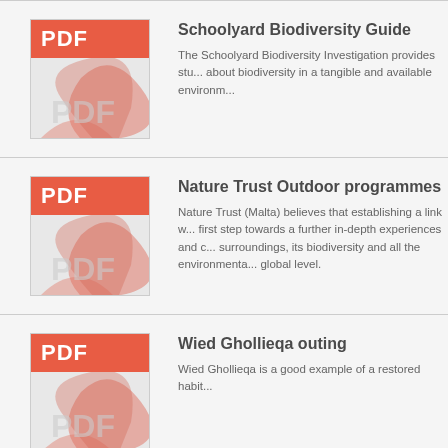[Figure (illustration): PDF file icon with red header showing 'PDF' text and decorative swirl graphic below]
Schoolyard Biodiversity Guide
The Schoolyard Biodiversity Investigation provides students with an opportunity to learn about biodiversity in a tangible and available environment.
[Figure (illustration): PDF file icon with red header showing 'PDF' text and decorative swirl graphic below]
Nature Trust Outdoor programmes
Nature Trust (Malta) believes that establishing a link with nature during childhood is the first step towards a further in-depth experiences and deeper understanding of one's surroundings, its biodiversity and all the environmental issues at local, regional and global level.
[Figure (illustration): PDF file icon with red header showing 'PDF' text and decorative swirl graphic below]
Wied Ghollieqa outing
Wied Ghollieqa is a good example of a restored habitat...